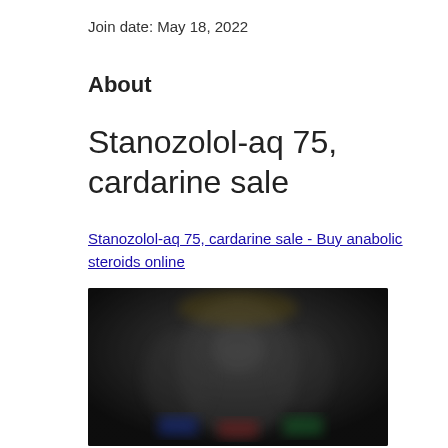Join date: May 18, 2022
About
Stanozolol-aq 75, cardarine sale
Stanozolol-aq 75, cardarine sale - Buy anabolic steroids online
[Figure (photo): Dark blurred product image showing supplement bottles/products]